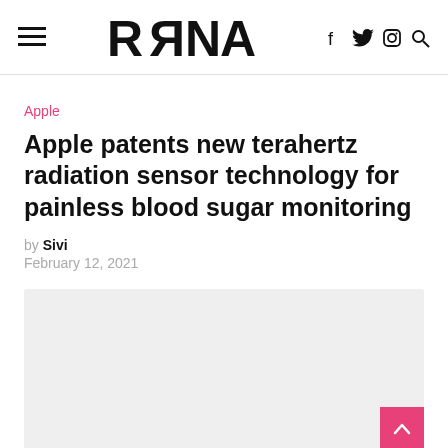≡  RRRNA  f  𝕏  ◎  🔍
Apple
Apple patents new terahertz radiation sensor technology for painless blood sugar monitoring
by Sivi
February 12, 2021
[Figure (photo): Light gray rectangular image placeholder area]